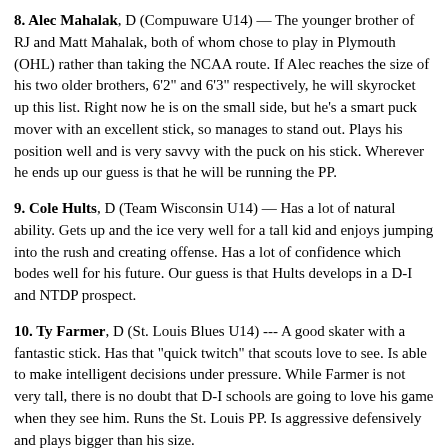8. Alec Mahalak, D (Compuware U14) — The younger brother of RJ and Matt Mahalak, both of whom chose to play in Plymouth (OHL) rather than taking the NCAA route. If Alec reaches the size of his two older brothers, 6'2" and 6'3" respectively, he will skyrocket up this list. Right now he is on the small side, but he's a smart puck mover with an excellent stick, so manages to stand out. Plays his position well and is very savvy with the puck on his stick. Wherever he ends up our guess is that he will be running the PP.
9. Cole Hults, D (Team Wisconsin U14) — Has a lot of natural ability. Gets up and the ice very well for a tall kid and enjoys jumping into the rush and creating offense. Has a lot of confidence which bodes well for his future. Our guess is that Hults develops in a D-I and NTDP prospect.
10. Ty Farmer, D (St. Louis Blues U14) --- A good skater with a fantastic stick. Has that “quick twitch” that scouts love to see. Is able to make intelligent decisions under pressure. While Farmer is not very tall, there is no doubt that D-I schools are going to love his game when they see him. Runs the St. Louis PP. Is aggressive defensively and plays bigger than his size.
11. Tommy Mohs, G (Team Wisconsin U14) — We have never claimed to be experts when it comes to evaluating goalies, but some kids have obvious talent and Mohs is one of them. Has a